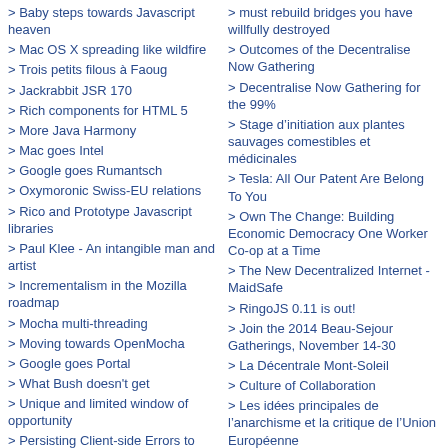> Baby steps towards Javascript heaven
> Mac OS X spreading like wildfire
> Trois petits filous à Faoug
> Jackrabbit JSR 170
> Rich components for HTML 5
> More Java Harmony
> Mac goes Intel
> Google goes Rumantsch
> Oxymoronic Swiss-EU relations
> Rico and Prototype Javascript libraries
> Paul Klee - An intangible man and artist
> Incrementalism in the Mozilla roadmap
> Mocha multi-threading
> Moving towards OpenMocha
> Google goes Portal
> What Bush doesn't get
> Unique and limited window of opportunity
> Persisting Client-side Errors to your Server
> Dive Into Greasemonkey
> must rebuild bridges you have willfully destroyed
> Outcomes of the Decentralise Now Gathering
> Decentralise Now Gathering for the 99%
> Stage d'initiation aux plantes sauvages comestibles et médicinales
> Tesla: All Our Patent Are Belong To You
> Own The Change: Building Economic Democracy One Worker Co-op at a Time
> The New Decentralized Internet - MaidSafe
> RingoJS 0.11 is out!
> Join the 2014 Beau-Sejour Gatherings, November 14-30
> La Décentrale Mont-Soleil
> Culture of Collaboration
> Les idées principales de l'anarchisme et la critique de l'Union Européenne
> Polymoney Workshop
> Zukunftsforum im Lorraine Quartier